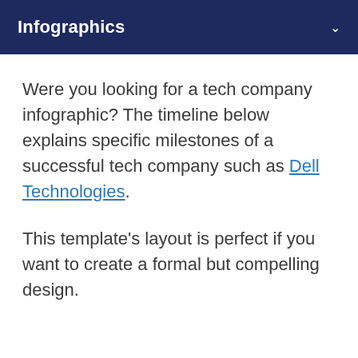Infographics
Were you looking for a tech company infographic? The timeline below explains specific milestones of a successful tech company such as Dell Technologies.
This template's layout is perfect if you want to create a formal but compelling design.